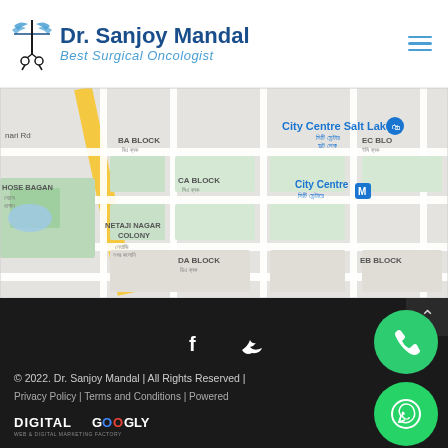[Figure (logo): Dr. Sanjoy Mandal - Best Surgical Oncologist logo with scissors icon and blue text]
[Figure (map): Google Maps showing Salt Lake area including BA Block, CA Block, DA Block, EB Block, EC Block, Netaji Nagar Colony, Ghose Bagan, City Centre Salt Lake, City Centre Metro station]
[Figure (infographic): Dark footer section with Facebook and Twitter social icons, phone call button (green circle), WhatsApp button (green circle), scroll-to-top arrow]
© 2022. Dr. Sanjoy Mandal | All Rights Reserved | Privacy Policy | Terms and Conditions | Powered by DIGITAL GOOGLY